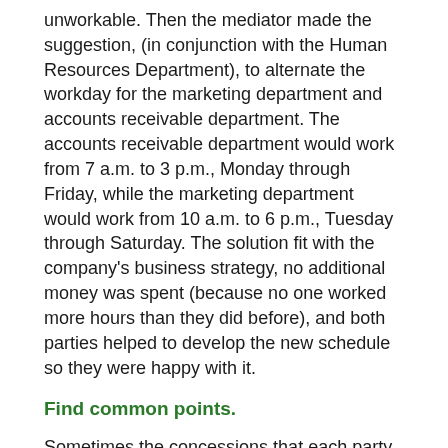unworkable. Then the mediator made the suggestion, (in conjunction with the Human Resources Department), to alternate the workday for the marketing department and accounts receivable department. The accounts receivable department would work from 7 a.m. to 3 p.m., Monday through Friday, while the marketing department would work from 10 a.m. to 6 p.m., Tuesday through Saturday. The solution fit with the company's business strategy, no additional money was spent (because no one worked more hours than they did before), and both parties helped to develop the new schedule so they were happy with it.
Find common points.
Sometimes the concessions that each party makes are not enough to completely erase the conflict. In a perfect world, one party would concede half and the other party would concede half and they'd meet in the middle.
The reality is that one party will concede a quarter...